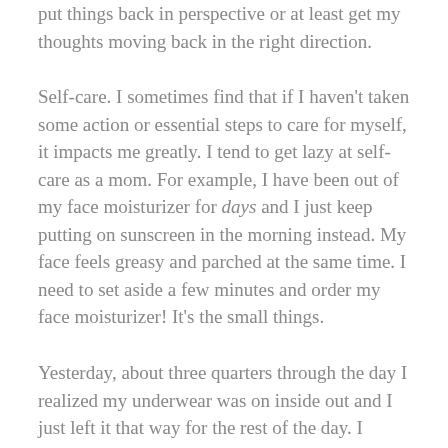put things back in perspective or at least get my thoughts moving back in the right direction.
Self-care. I sometimes find that if I haven't taken some action or essential steps to care for myself, it impacts me greatly. I tend to get lazy at self-care as a mom. For example, I have been out of my face moisturizer for days and I just keep putting on sunscreen in the morning instead. My face feels greasy and parched at the same time. I need to set aside a few minutes and order my face moisturizer! It's the small things.
Yesterday, about three quarters through the day I realized my underwear was on inside out and I just left it that way for the rest of the day. I didn't even take the time to turn them right side out or even just change my underwear! These are not big things. Wearing clothes